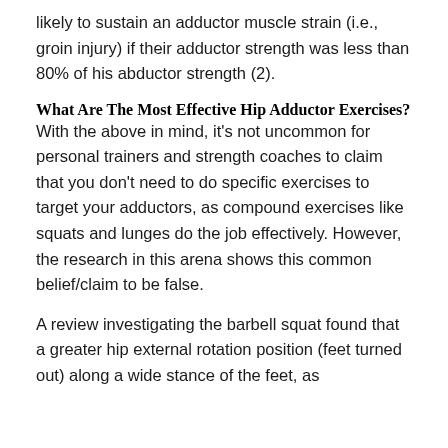likely to sustain an adductor muscle strain (i.e., groin injury) if their adductor strength was less than 80% of his abductor strength (2).
What Are The Most Effective Hip Adductor Exercises?
With the above in mind, it’s not uncommon for personal trainers and strength coaches to claim that you don’t need to do specific exercises to target your adductors, as compound exercises like squats and lunges do the job effectively. However, the research in this arena shows this common belief/claim to be false.
A review investigating the barbell squat found that a greater hip external rotation position (feet turned out) along a wide stance of the feet, as